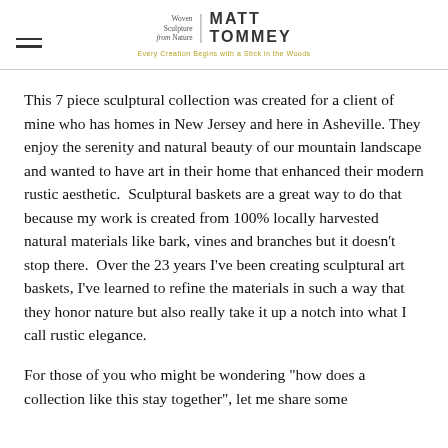Woven Sculpture from Nature | MATT TOMMEY
This 7 piece sculptural collection was created for a client of mine who has homes in New Jersey and here in Asheville. They enjoy the serenity and natural beauty of our mountain landscape and wanted to have art in their home that enhanced their modern rustic aesthetic.  Sculptural baskets are a great way to do that because my work is created from 100% locally harvested natural materials like bark, vines and branches but it doesn't stop there.  Over the 23 years I've been creating sculptural art baskets, I've learned to refine the materials in such a way that they honor nature but also really take it up a notch into what I call rustic elegance.
For those of you who might be wondering "how does a collection like this stay together", let me share some